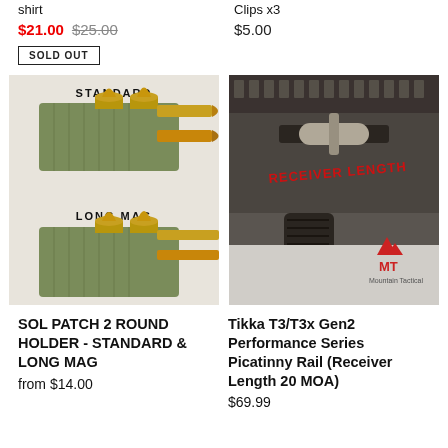shirt
Clips x3
$21.00 $25.00
$5.00
SOLD OUT
[Figure (photo): Photo of SOL PATCH 2 ROUND HOLDER showing STANDARD (top) and LONG MAG (bottom) variants with cartridges]
[Figure (photo): Photo of Tikka T3/T3x Gen2 Performance Series Picatinny Rail (Receiver Length 20 MOA) by Mountain Tactical, close-up of rifle receiver]
SOL PATCH 2 ROUND HOLDER - STANDARD & LONG MAG
from $14.00
Tikka T3/T3x Gen2 Performance Series Picatinny Rail (Receiver Length 20 MOA)
$69.99